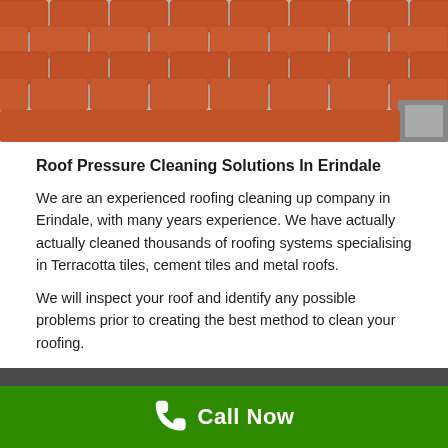[Figure (photo): Close-up photo of terracotta roof tiles with a gutter visible on the right side]
Roof Pressure Cleaning Solutions In Erindale
We are an experienced roofing cleaning up company in Erindale, with many years experience. We have actually actually cleaned thousands of roofing systems specialising in Terracotta tiles, cement tiles and metal roofs.
We will inspect your roof and identify any possible problems prior to creating the best method to clean your roofing.
We offer our clients a total solution to roofing system remediation that includes our sophisticated roof cleansing system, re-pointing and re-colouring your roofing. Your roof will appear brighter, richer and cleaner than it's remained in years. In fact, it'll look like you have actually changed the old tiles for new tiles! Something as
Call Now